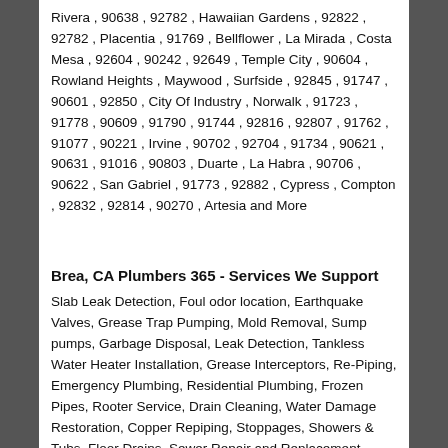Rivera , 90638 , 92782 , Hawaiian Gardens , 92822 , 92782 , Placentia , 91769 , Bellflower , La Mirada , Costa Mesa , 92604 , 90242 , 92649 , Temple City , 90604 , Rowland Heights , Maywood , Surfside , 92845 , 91747 , 90601 , 92850 , City Of Industry , Norwalk , 91723 , 91778 , 90609 , 91790 , 91744 , 92816 , 92807 , 91762 , 91077 , 90221 , Irvine , 90702 , 92704 , 91734 , 90621 , 90631 , 91016 , 90803 , Duarte , La Habra , 90706 , 90622 , San Gabriel , 91773 , 92882 , Cypress , Compton , 92832 , 92814 , 90270 , Artesia and More
Brea, CA Plumbers 365 - Services We Support
Slab Leak Detection, Foul odor location, Earthquake Valves, Grease Trap Pumping, Mold Removal, Sump pumps, Garbage Disposal, Leak Detection, Tankless Water Heater Installation, Grease Interceptors, Re-Piping, Emergency Plumbing, Residential Plumbing, Frozen Pipes, Rooter Service, Drain Cleaning, Water Damage Restoration, Copper Repiping, Stoppages, Showers & Tubs, Floor Drains, Sewer Repair and Replacement, Septic &